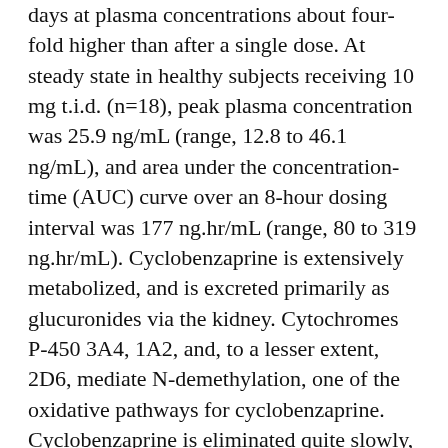days at plasma concentrations about four-fold higher than after a single dose. At steady state in healthy subjects receiving 10 mg t.i.d. (n=18), peak plasma concentration was 25.9 ng/mL (range, 12.8 to 46.1 ng/mL), and area under the concentration-time (AUC) curve over an 8-hour dosing interval was 177 ng.hr/mL (range, 80 to 319 ng.hr/mL). Cyclobenzaprine is extensively metabolized, and is excreted primarily as glucuronides via the kidney. Cytochromes P-450 3A4, 1A2, and, to a lesser extent, 2D6, mediate N-demethylation, one of the oxidative pathways for cyclobenzaprine. Cyclobenzaprine is eliminated quite slowly, with an effective half-life of 18 hours (range 8 to 37 hours; n=18);